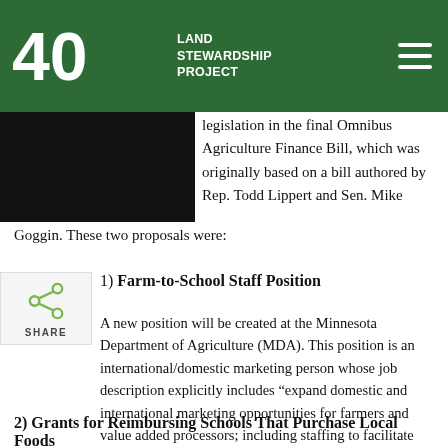Land Stewardship Project
legislation in the final Omnibus Agriculture Finance Bill, which was originally based on a bill authored by Rep. Todd Lippert and Sen. Mike Goggin. These two proposals were:
1) Farm-to-School Staff Position
A new position will be created at the Minnesota Department of Agriculture (MDA). This position is an international/domestic marketing person whose job description explicitly includes “expand domestic and international marketing opportunities for farmers and value added processors; including staffing to facilitate farm to school sales....”
2) Grants for Reimbursing Schools That Purchase Local Foods